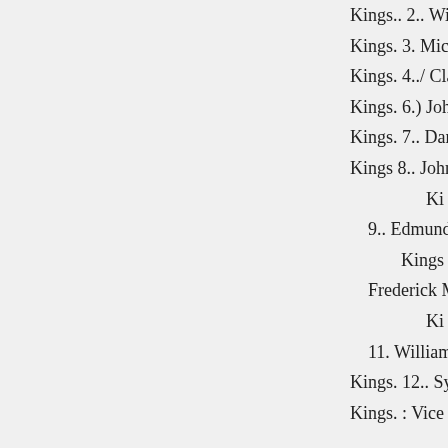Kings.. 2.. William J. Gil
Kings. 3. Michael A. O'N
Kings. 4../ Clarence W. D
Kings. 6.) John H. Gerke
Kings. 7.. Daniel F. Farre
Kings 8.. John J. McKeon
Ki
9.. Edmund O'Connor.
Kings
Frederick M. Ahern
Ki
11. William W. Colné.
Kings. 12.. Sydney W. Fr
Kings. : Vice Luke McHe
.
)
10.